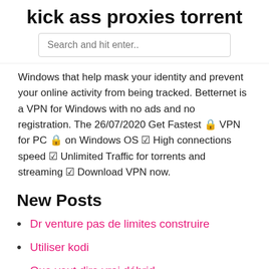kick ass proxies torrent
Search and hit enter..
Windows that help mask your identity and prevent your online activity from being tracked. Betternet is a VPN for Windows with no ads and no registration. The 26/07/2020 Get Fastest 🔒 VPN for PC 🔒 on Windows OS ☑ High connections speed ☑ Unlimited Traffic for torrents and streaming ☑ Download VPN now.
New Posts
Dr venture pas de limites construire
Utiliser kodi
Que veut dire vrai débrid
Le mandalorien où regarder
Épisodes de gars de la famille flux gratuit